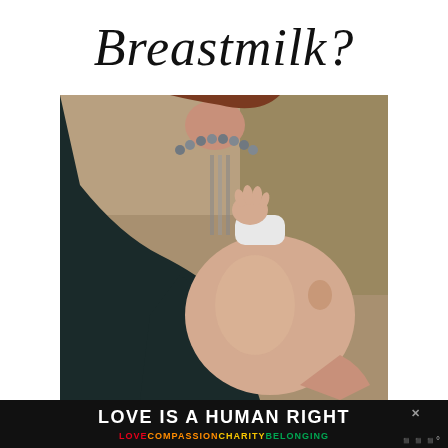Breastmilk?
[Figure (photo): A woman in a dark jacket holding and nursing a baby, wearing a pearl necklace, photographed outdoors with a blurred natural background]
LOVE IS A HUMAN RIGHT × LOVE COMPASSION CHARITY BELONGING